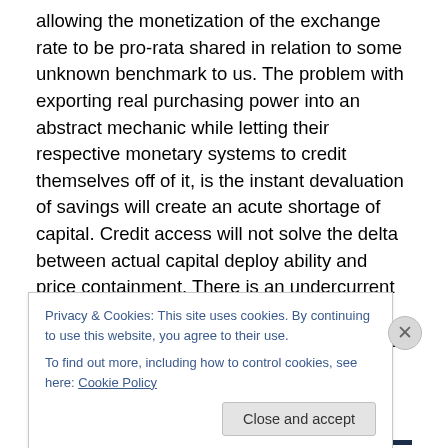allowing the monetization of the exchange rate to be pro-rata shared in relation to some unknown benchmark to us. The problem with exporting real purchasing power into an abstract mechanic while letting their respective monetary systems to credit themselves off of it, is the instant devaluation of savings will create an acute shortage of capital. Credit access will not solve the delta between actual capital deploy ability and price containment. There is an undercurrent where clearance will consistently show real prices imploding while those without distress bifurcating into imaginary prices. Ergo velocity of money
Privacy & Cookies: This site uses cookies. By continuing to use this website, you agree to their use.
To find out more, including how to control cookies, see here: Cookie Policy